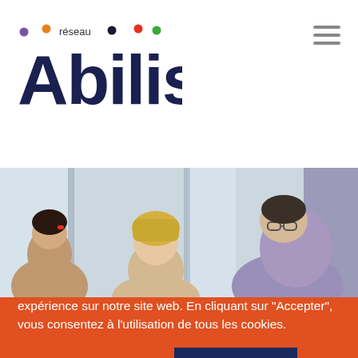[Figure (logo): Réseau Abilis logo with colorful dots above letters and dark navy wordmark]
[Figure (photo): People sitting around a table in a bright room, appears to be a work or educational setting with large windows]
Nous utilisons des cookies pour vous garantir la meilleure expérience sur notre site web. En cliquant sur "Accepter", vous consentez à l'utilisation de tous les cookies.
Paramètres des cookies
ACCEPTER